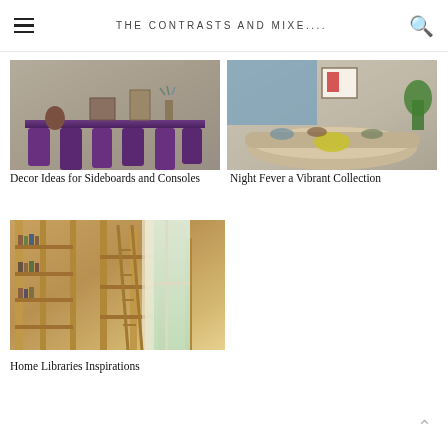THE CONTRASTS AND MIXE....
[Figure (photo): Interior photo showing a purple/violet skirted console table with decorative items including a vase with flowers, framed art, and a small horse figurine against a textured wall]
Decor Ideas for Sideboards and Consoles
[Figure (photo): Interior photo of a curved sectional sofa with beige/taupe upholstery arranged around a yellow coffee table, with a pool and artwork visible in the background]
Night Fever a Vibrant Collection
[Figure (photo): Interior photo of a home library with floor-to-ceiling wooden bookshelves filled with books, a rolling ladder, and natural light coming through a window with curtains]
Home Libraries Inspirations